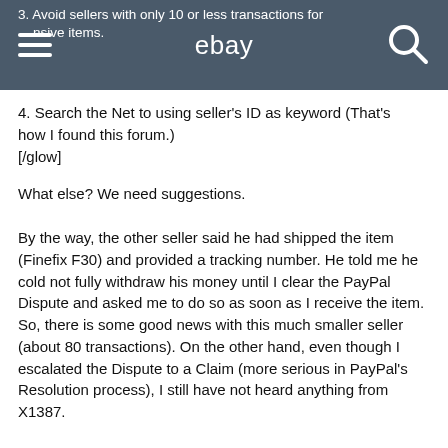3. Avoid sellers with only 10 or less transactions for expensive items.  ebay
4. Search the Net to using seller's ID as keyword (That's how I found this forum.)
[/glow]
What else? We need suggestions.
By the way, the other seller said he had shipped the item (Finefix F30) and provided a tracking number. He told me he cold not fully withdraw his money until I clear the PayPal Dispute and asked me to do so as soon as I receive the item. So, there is some good news with this much smaller seller (about 80 transactions). On the other hand, even though I escalated the Dispute to a Claim (more serious in PayPal's Resolution process), I still have not heard anything from X1387.